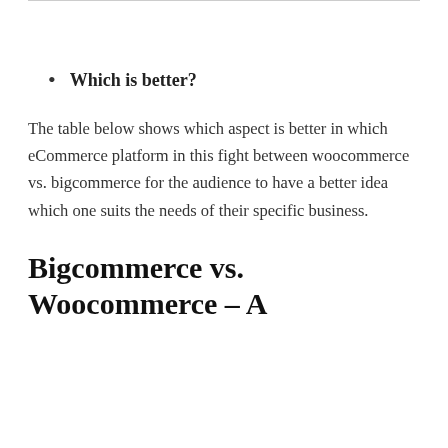Which is better?
The table below shows which aspect is better in which eCommerce platform in this fight between woocommerce vs. bigcommerce for the audience to have a better idea which one suits the needs of their specific business.
Bigcommerce vs. Woocommerce – A